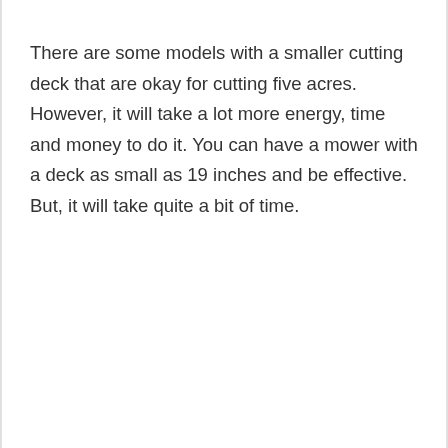There are some models with a smaller cutting deck that are okay for cutting five acres. However, it will take a lot more energy, time and money to do it. You can have a mower with a deck as small as 19 inches and be effective. But, it will take quite a bit of time.